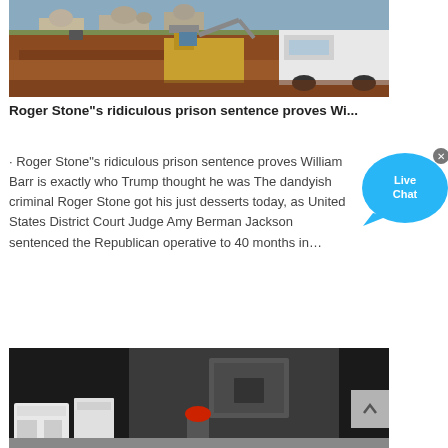[Figure (photo): Construction site photo showing heavy machinery and excavation with a white truck and earthworks, buildings with domed structures in background]
Roger Stone"s ridiculous prison sentence proves Wi...
· Roger Stone"s ridiculous prison sentence proves William Barr is exactly who Trump thought he was The dandyish criminal Roger Stone got his just desserts today, as United States District Court Judge Amy Berman Jackson sentenced the Republican operative to 40 months in…
[Figure (photo): Industrial or commercial building exterior with dark walls, white equipment/generators, and a worker in a red hard hat visible at bottom]